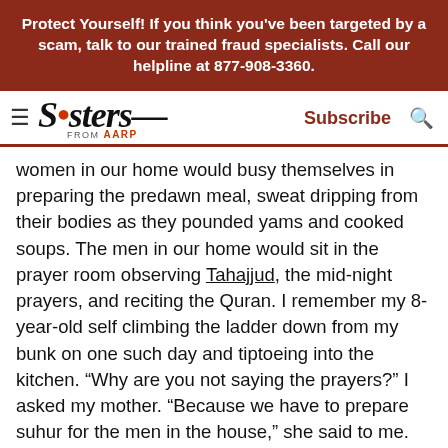Protect Yourself! If you think you've been targeted by a scam, talk to our trained fraud specialists. Call our helpline at 877-908-3360.
Sisters FROM AARP — Subscribe | Search
women in our home would busy themselves in preparing the predawn meal, sweat dripping from their bodies as they pounded yams and cooked soups. The men in our home would sit in the prayer room observing Tahajjud, the mid-night prayers, and reciting the Quran. I remember my 8-year-old self climbing the ladder down from my bunk on one such day and tiptoeing into the kitchen. “Why are you not saying the prayers?” I asked my mother. “Because we have to prepare suhur for the men in the house,” she said to me. Weary from having to do a lot of work, the women in our home were starved of the beauty of spirituality in Ramadan.